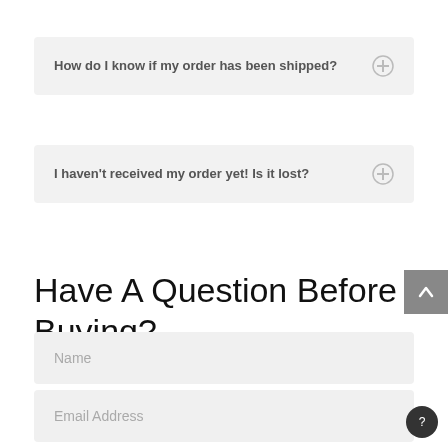How do I know if my order has been shipped?
I haven't received my order yet! Is it lost?
Have A Question Before Buying?
Name
Email Address